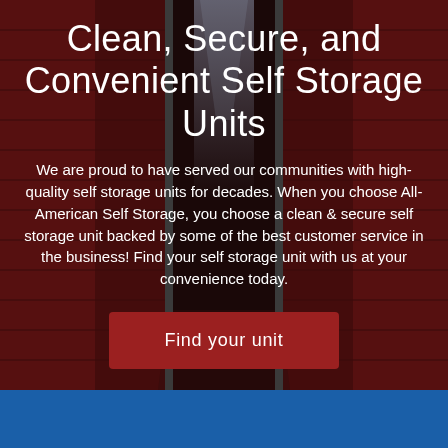[Figure (photo): Background photo of a self-storage facility corridor with red roll-up doors on both sides, viewed in perspective, with dark overhead and a light at the end of the hallway.]
Clean, Secure, and Convenient Self Storage Units
We are proud to have served our communities with high-quality self storage units for decades. When you choose All-American Self Storage, you choose a clean & secure self storage unit backed by some of the best customer service in the business! Find your self storage unit with us at your convenience today.
Find your unit